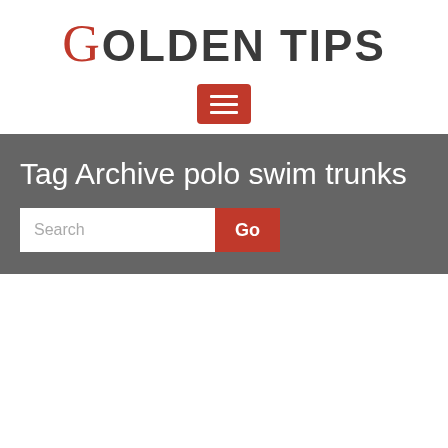GOLDEN TIPS
[Figure (other): Red hamburger menu button with three white horizontal bars on red rounded rectangle background]
Tag Archive polo swim trunks
Search / Go